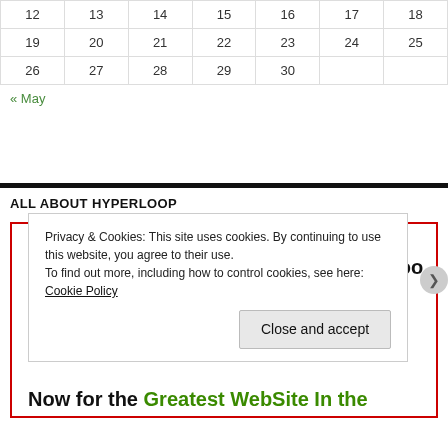| Sun | Mon | Tue | Wed | Thu | Fri | Sat |
| --- | --- | --- | --- | --- | --- | --- |
| 12 | 13 | 14 | 15 | 16 | 17 | 18 |
| 19 | 20 | 21 | 22 | 23 | 24 | 25 |
| 26 | 27 | 28 | 29 | 30 |  |  |
« May
ALL ABOUT HYPERLOOP
Find out about HYPERLOOP and then too Hyperloop
Now for the Greatest WebSite In the World
Privacy & Cookies: This site uses cookies. By continuing to use this website, you agree to their use.
To find out more, including how to control cookies, see here: Cookie Policy
Close and accept